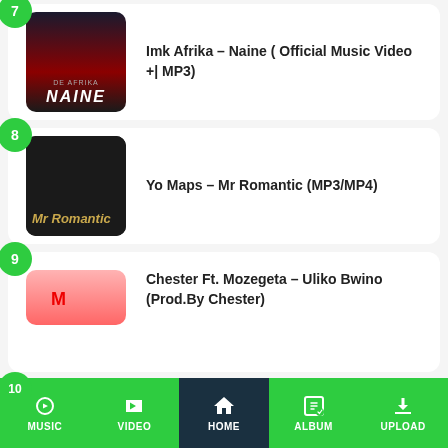Imk Afrika – Naine (Official Music Video +| MP3)
Yo Maps – Mr Romantic (MP3/MP4)
Chester Ft. Mozegeta – Uliko Bwino (Prod.By Chester)
Macky 2 – Olijaba (Album)
MUSIC  VIDEO  HOME  ALBUM  UPLOAD